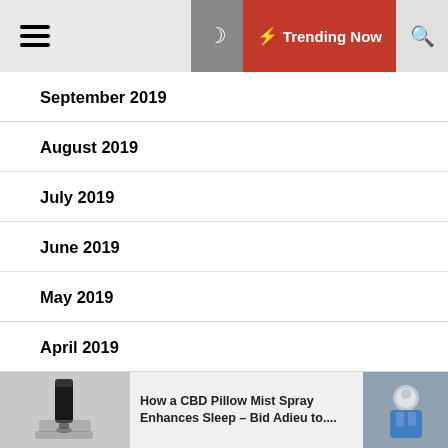Trending Now
September 2019
August 2019
July 2019
June 2019
May 2019
April 2019
March 2019
How a CBD Pillow Mist Spray Enhances Sleep – Bid Adieu to....